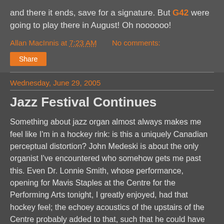and there it ends, save for a signature. But G42 were going to play there in August! Oh noooooo!
Allan MacInnis at 7:23 AM   No comments:
Share
Wednesday, June 29, 2005
Jazz Festival Continues
Something about jazz organ almost always makes me feel like I'm in a hockey rink: is this a uniquely Canadian perceptual distortion? John Medeski is about the only organist I've encountered who somehow gets me past this. Even Dr. Lonnie Smith, whose performance, opening for Mavis Staples at the Centre for the Performing Arts tonight, I greatly enjoyed, had that hockey feel; the echoey acoustics of the upstairs of the Centre probably added to that, such that he could have trilled "doodle-a-doo-da-DOO" (in the manner of the hockey charge) and it would have fit perfectly. Still, he was a superb organist. I liked what he did it. The